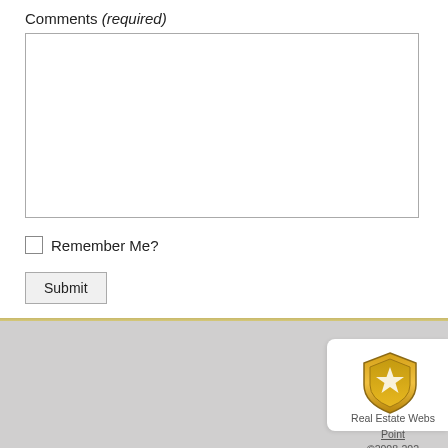Comments (required)
Remember Me?
Submit
[Figure (logo): Gold shield badge with star emblem]
Real Estate Webs
Point
©2008-202